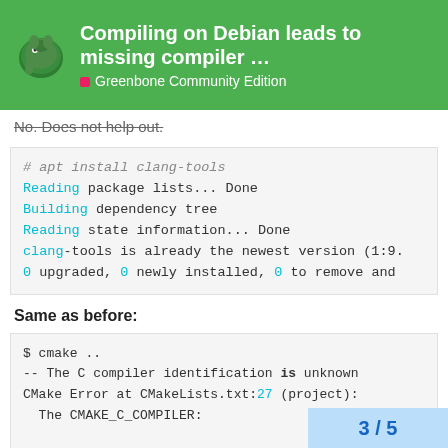Compiling on Debian leads to missing compiler ... | Greenbone Community Edition
No. Does not help out.
# apt install clang-tools
Reading package lists... Done
Building dependency tree
Reading state information... Done
clang-tools is already the newest version (1:9.
0 upgraded, 0 newly installed, 0 to remove and
Same as before:
$ cmake ..
-- The C compiler identification is unknown
CMake Error at CMakeLists.txt:27 (project):
  The CMAKE_C_COMPILER:

    /usr/share/clang/scan-build/ccc-analyzer

  is not a full path to an exi
3 / 5